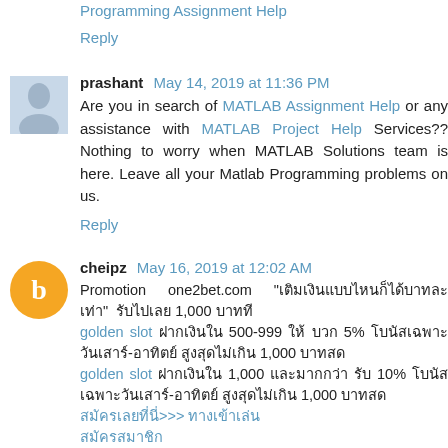Programming Assignment Help
Reply
prashant May 14, 2019 at 11:36 PM
Are you in search of MATLAB Assignment Help or any assistance with MATLAB Project Help Services?? Nothing to worry when MATLAB Solutions team is here. Leave all your Matlab Programming problems on us.
Reply
cheipz May 16, 2019 at 12:02 AM
Promotion one2bet.com “เติมเงินแบบไหนก็ได้บาทละเท่า” รับไปเลย 1,000 บาทที golden slot ฝากเงินใน 500-999 ให้ บวก 5% โบนัสเฉพาะวันเสาร์-อาทิตย์ สูงสุดไม่เกิน 1,000 บาทสด golden slot ฝากเงินใน 1,000 และมากกว่า รับ 10% โบนัสเฉพาะวันเสาร์-อาทิตย์ สูงสุดไม่เกิน 1,000 บาทสด สมัครเลยที่นี่>>> ทางเข้าเล่น สมัครสมาชิก